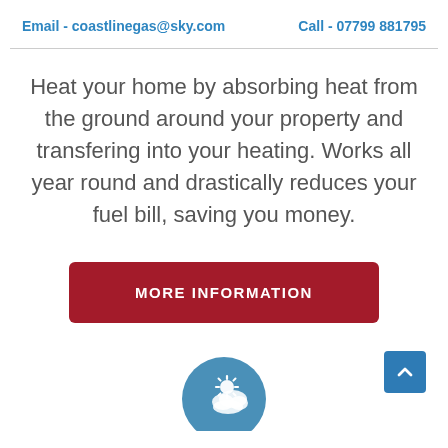Email - coastlinegas@sky.com    Call - 07799 881795
Heat your home by absorbing heat from the ground around your property and transfering into your heating. Works all year round and drastically reduces your fuel bill, saving you money.
MORE INFORMATION
[Figure (illustration): A circular blue icon with a sun and cloud weather symbol, partially visible at the bottom of the page. A blue square scroll-to-top button with an upward chevron arrow appears in the bottom right corner.]